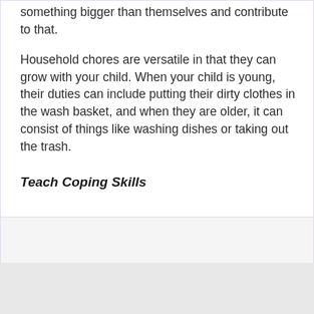something bigger than themselves and contribute to that.
Household chores are versatile in that they can grow with your child. When your child is young, their duties can include putting their dirty clothes in the wash basket, and when they are older, it can consist of things like washing dishes or taking out the trash.
Teach Coping Skills